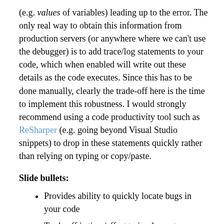(e.g. values of variables) leading up to the error. The only real way to obtain this information from production servers (or anywhere where we can't use the debugger) is to add trace/log statements to your code, which when enabled will write out these details as the code executes. Since this has to be done manually, clearly the trade-off here is the time to implement this robustness. I would strongly recommend using a code productivity tool such as ReSharper (e.g. going beyond Visual Studio snippets) to drop in these statements quickly rather than relying on typing or copy/paste.
Slide bullets:
Provides ability to quickly locate bugs in your code
Trade off is time/effort to implement
Consider productivity tools such as
ReSharper/CodeRush to drop in statements